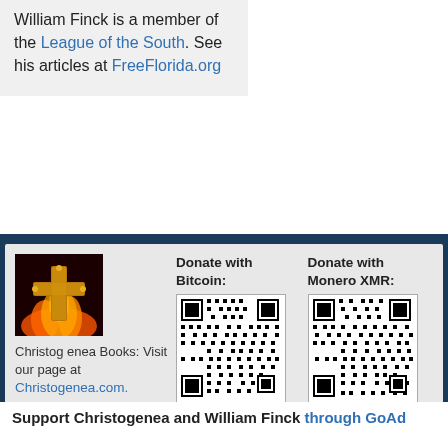William Finck is a member of the League of the South. See his articles at FreeFlorida.org
Christogenea Books: Visit our page at Christogenea.com.
Donate with Bitcoin:
[Figure (other): Bitcoin donation QR code]
Click here for details.
Donate with Monero XMR:
[Figure (other): Monero XMR donation QR code]
Click here for details.
Support Christogenea and William Finck through GoAd...